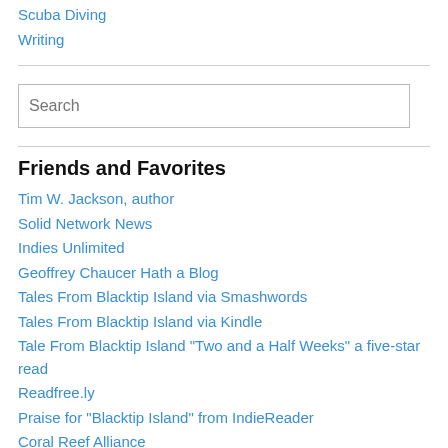Scuba Diving
Writing
Search
Friends and Favorites
Tim W. Jackson, author
Solid Network News
Indies Unlimited
Geoffrey Chaucer Hath a Blog
Tales From Blacktip Island via Smashwords
Tales From Blacktip Island via Kindle
Tale From Blacktip Island "Two and a Half Weeks" a five-star read
Readfree.ly
Praise for "Blacktip Island" from IndieReader
Coral Reef Alliance